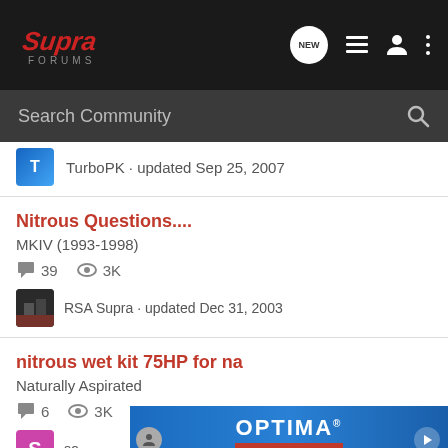Supra Forums navigation bar with logo, NEW button, list icon, profile icon, and more icon
Search Community
TurboPK · updated Sep 25, 2007
Nitrous Questions....
MKIV (1993-1998)
39 replies · 3K views
RSA Supra · updated Dec 31, 2003
nitrous wet kit 75HP for na
Naturally Aspirated
6 replies · 3K views
so... · Optima Batteries advertisement